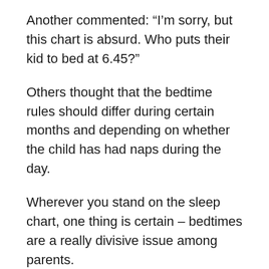Another commented: “I’m sorry, but this chart is absurd. Who puts their kid to bed at 6.45?”
Others thought that the bedtime rules should differ during certain months and depending on whether the child has had naps during the day.
Wherever you stand on the sleep chart, one thing is certain – bedtimes are a really divisive issue among parents.
read more
Related Articles
read more